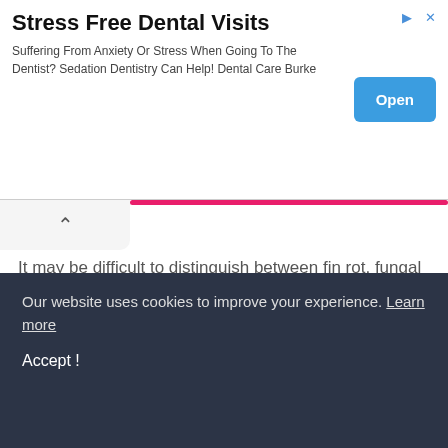[Figure (screenshot): Advertisement banner for 'Stress Free Dental Visits' with title, subtitle text about sedation dentistry, and an Open button]
It may be difficult to distinguish between fin rot, fungal and mouth fungal diseases (false fungus). In this case, using formalin and malachite green together may be a solution. Because these two chemicals are effective against many bacteria and fungi.
You may be wondering what harm little thrush insight can do. However, when the disease is left untreated, it can enter the fish body and cause other problems. If left untreated, it may even threaten the function of ...
Our website uses cookies to improve your experience. Learn more

Accept !